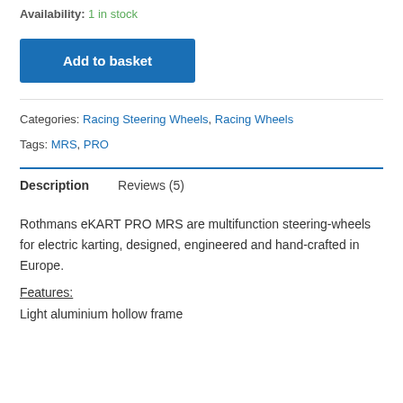Availability: 1 in stock
Add to basket
Categories: Racing Steering Wheels, Racing Wheels
Tags: MRS, PRO
Description
Reviews (5)
Rothmans eKART PRO MRS are multifunction steering-wheels for electric karting, designed, engineered and hand-crafted in Europe.
Features:
Light aluminium hollow frame